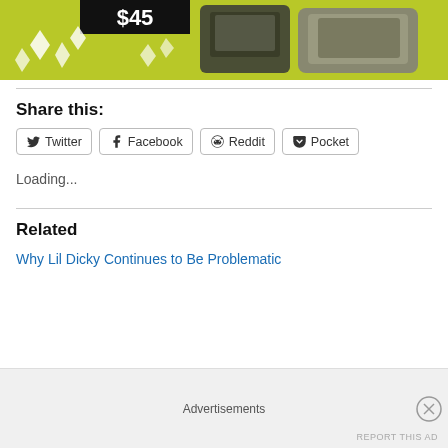[Figure (photo): Product advertisement image showing rugged device on yellow-green background with ice crystals and price tag showing $45]
Share this:
Twitter | Facebook | Reddit | Pocket (share buttons)
Loading...
Related
Why Lil Dicky Continues to Be Problematic
Advertisements
REPORT THIS AD